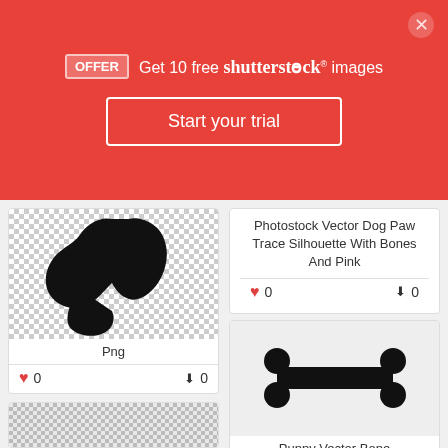OFFER  Get 10 free shutterstock images
Start your trial
[Figure (illustration): Black silhouette of a dog paw/bone shape on checkered transparent background]
Png
0  0
Photostock Vector Dog Paw Trace Silhouette With Bones And Pink
0  0
[Figure (illustration): Black silhouette of a dog bone on light gray background]
Puppy Vector Bone
0  0
[Figure (illustration): Partial view of a patterned tile with dog/paw illustrations]
[Figure (illustration): Partial view of another card (white background)]